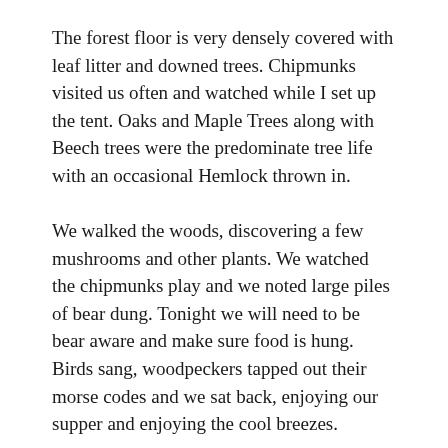The forest floor is very densely covered with leaf litter and downed trees. Chipmunks visited us often and watched while I set up the tent. Oaks and Maple Trees along with Beech trees were the predominate tree life with an occasional Hemlock thrown in.
We walked the woods, discovering a few mushrooms and other plants. We watched the chipmunks play and we noted large piles of bear dung. Tonight we will need to be bear aware and make sure food is hung. Birds sang, woodpeckers tapped out their morse codes and we sat back, enjoying our supper and enjoying the cool breezes.